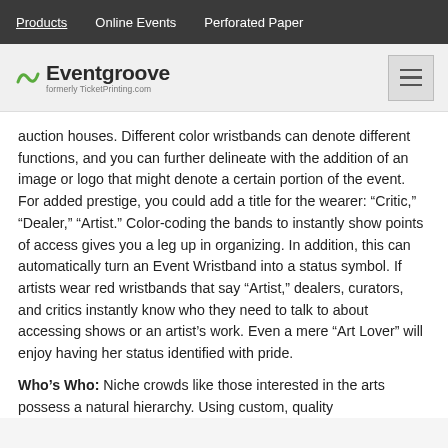Products   Online Events   Perforated Paper
[Figure (logo): Eventgroove logo with tilde symbol, formerly TicketPrinting.com]
auction houses. Different color wristbands can denote different functions, and you can further delineate with the addition of an image or logo that might denote a certain portion of the event. For added prestige, you could add a title for the wearer: “Critic,” “Dealer,” “Artist.” Color-coding the bands to instantly show points of access gives you a leg up in organizing. In addition, this can automatically turn an Event Wristband into a status symbol. If artists wear red wristbands that say “Artist,” dealers, curators, and critics instantly know who they need to talk to about accessing shows or an artist’s work. Even a mere “Art Lover” will enjoy having her status identified with pride.
Who’s Who: Niche crowds like those interested in the arts possess a natural hierarchy. Using custom, quality